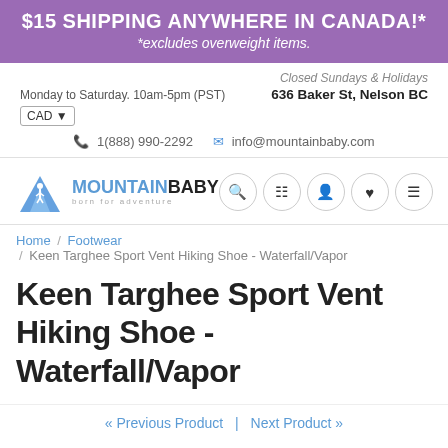$15 SHIPPING ANYWHERE IN CANADA!* *excludes overweight items.
Closed Sundays & Holidays
Monday to Saturday. 10am-5pm (PST)   636 Baker St, Nelson BC
CAD
1(888) 990-2292   info@mountainbaby.com
[Figure (logo): Mountain Baby logo with blue mountain/person icon and text MOUNTAINBABY born for adventure, plus navigation icons (search, cart, user, heart, menu)]
Home / Footwear / Keen Targhee Sport Vent Hiking Shoe - Waterfall/Vapor
Keen Targhee Sport Vent Hiking Shoe - Waterfall/Vapor
« Previous Product  |  Next Product »